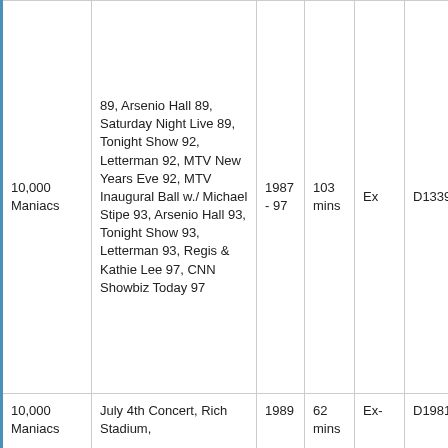| 10,000 Maniacs | 89, Arsenio Hall 89, Saturday Night Live 89, Tonight Show 92, Letterman 92, MTV New Years Eve 92, MTV Inaugural Ball w./ Michael Stipe 93, Arsenio Hall 93, Tonight Show 93, Letterman 93, Regis & Kathie Lee 97, CNN Showbiz Today 97 | 1987 - 97 | 103 mins | Ex | D1339 |
| 10,000 Maniacs | July 4th Concert, Rich Stadium, | 1989 | 62 mins | Ex- | D1981 |